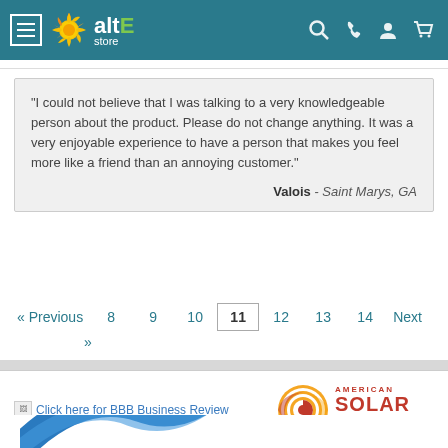altE store
“I could not believe that I was talking to a very knowledgeable person about the product. Please do not change anything. It was a very enjoyable experience to have a person that makes you feel more like a friend than an annoying customer.” — Valois - Saint Marys, GA
« Previous | 8 | 9 | 10 | 11 (current) | 12 | 13 | 14 | Next | »
[Figure (logo): American Solar Energy Society Member logo with concentric circle design in orange and red]
Click here for BBB Business Review
[Figure (logo): Partial blue arc/wave logo at bottom]